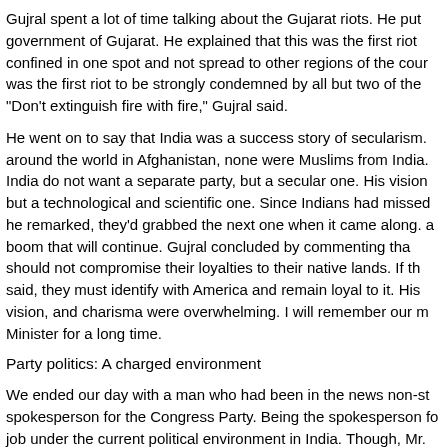Gujral spent a lot of time talking about the Gujarat riots. He put government of Gujarat. He explained that this was the first riot confined in one spot and not spread to other regions of the cour was the first riot to be strongly condemned by all but two of the "Don't extinguish fire with fire," Gujral said.
He went on to say that India was a success story of secularism. around the world in Afghanistan, none were Muslims from India. India do not want a separate party, but a secular one. His vision but a technological and scientific one. Since Indians had missed he remarked, they'd grabbed the next one when it came along. a boom that will continue. Gujral concluded by commenting tha should not compromise their loyalties to their native lands. If th said, they must identify with America and remain loyal to it. His vision, and charisma were overwhelming. I will remember our m Minister for a long time.
Party politics: A charged environment
We ended our day with a man who had been in the news non-st spokesperson for the Congress Party. Being the spokesperson fo job under the current political environment in India. Though, Mr. his frustrations against the ruling BJP whom he blamed for injec divisiveness and communal poisoning. He cited the Ayodhya ter should be left to the courts; any government legislation towards unconstitutional. The meeting with Mr. Reddy gave us an up clos in India.
August 14th: